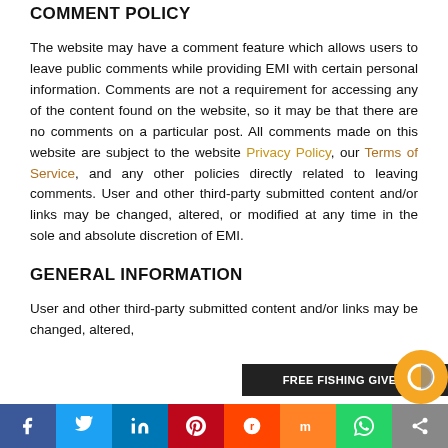COMMENT POLICY
The website may have a comment feature which allows users to leave public comments while providing EMI with certain personal information. Comments are not a requirement for accessing any of the content found on the website, so it may be that there are no comments on a particular post. All comments made on this website are subject to the website Privacy Policy, our Terms of Service, and any other policies directly related to leaving comments. User and other third-party submitted content and/or links may be changed, altered, or modified at any time in the sole and absolute discretion of EMI.
GENERAL INFORMATION
User and other third-party submitted content and/or links may be changed, altered,...